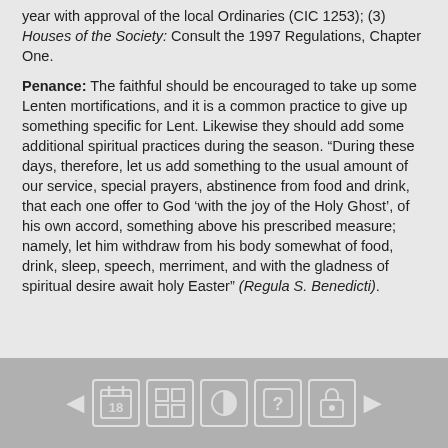year with approval of the local Ordinaries (CIC 1253); (3) Houses of the Society: Consult the 1997 Regulations, Chapter One.
Penance: The faithful should be encouraged to take up some Lenten mortifications, and it is a common practice to give up something specific for Lent. Likewise they should add some additional spiritual practices during the season. “During these days, therefore, let us add something to the usual amount of our service, special prayers, abstinence from food and drink, that each one offer to God ‘with the joy of the Holy Ghost’, of his own accord, something above his prescribed measure; namely, let him withdraw from his body somewhat of food, drink, sleep, speech, merriment, and with the gladness of spiritual desire await holy Easter” (Regula S. Benedicti).
[Figure (other): Navigation toolbar with previous arrow, calendar/18 icon, grid icon, contrast icon, help/question mark icon, lock icon, and next arrow]